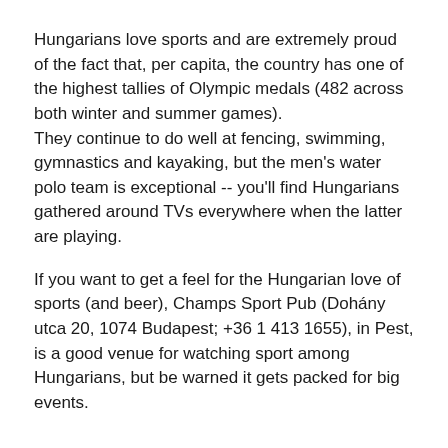Hungarians love sports and are extremely proud of the fact that, per capita, the country has one of the highest tallies of Olympic medals (482 across both winter and summer games). They continue to do well at fencing, swimming, gymnastics and kayaking, but the men's water polo team is exceptional -- you'll find Hungarians gathered around TVs everywhere when the latter are playing.
If you want to get a feel for the Hungarian love of sports (and beer), Champs Sport Pub (Dohány utca 20, 1074 Budapest; +36 1 413 1655), in Pest, is a good venue for watching sport among Hungarians, but be warned it gets packed for big events.
11. Equestrian traditions are very much alive